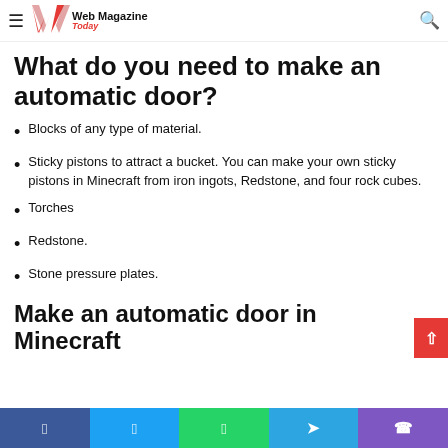Web Magazine Today
following guide to learn how to do that door inside Minecraft.
What do you need to make an automatic door?
Blocks of any type of material.
Sticky pistons to attract a bucket. You can make your own sticky pistons in Minecraft from iron ingots, Redstone, and four rock cubes.
Torches
Redstone.
Stone pressure plates.
Make an automatic door in Minecraft